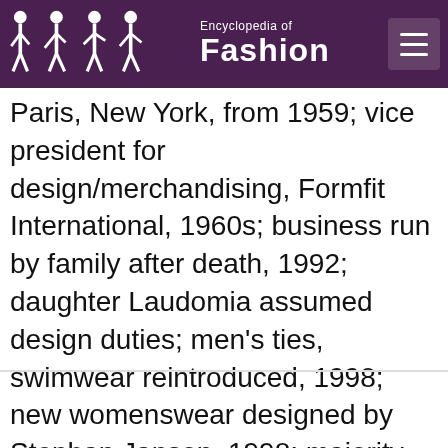Encyclopedia of Fashion
Paris, New York, from 1959; vice president for design/merchandising, Formfit International, 1960s; business run by family after death, 1992; daughter Laudomia assumed design duties; men's ties, swimwear reintroduced, 1998; new womenswear designed by Stephan Janson, 1998; majority share acquired by LVMH,